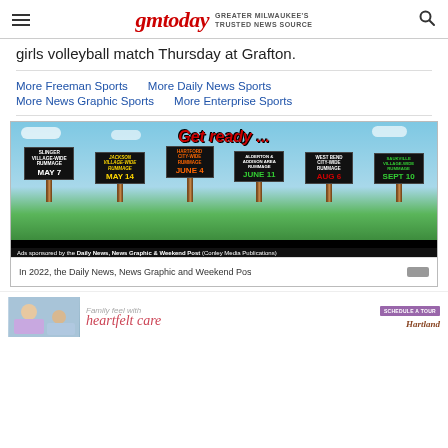gmtoday — GREATER MILWAUKEE'S TRUSTED NEWS SOURCE
girls volleyball match Thursday at Grafton.
More Freeman Sports   More Daily News Sports   More News Graphic Sports   More Enterprise Sports
[Figure (infographic): Ad banner showing rummage sale signs in a field. Signs read: Slinger Village-Wide Rummage May 7, Jackson Village-Wide Rummage May 14, Hartford City-Wide Rummage June 4, Addison & Addison Area Rummage June 11, West Bend City-Wide Rummage Aug 6, Saukville Village-Wide Rummage Sept 10. Caption: Ads sponsored by the Daily News, News Graphic & Weekend Post (Conley Media Publications)]
In 2022, the Daily News, News Graphic and Weekend Pos
[Figure (infographic): Bottom advertisement: Family feel with heartfelt care - Hartland. Shows elderly care image with schedule a tour button.]